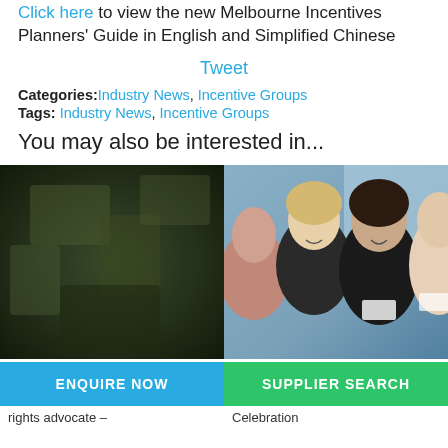Click here to view the new Melbourne Incentives Planners' Guide in English and Simplified Chinese
Tweet
Categories: Industry News, Incentive Groups
Tags: Industry News, Incentive Groups
You may also be interested in...
[Figure (photo): Dark blurry outdoor photo with green foliage]
[Figure (photo): Group of women smiling at an event, indoor setting with city skyline in background]
ENQUIRE NOW
SUPPLIER SEARCH
rights advocate –
Celebration